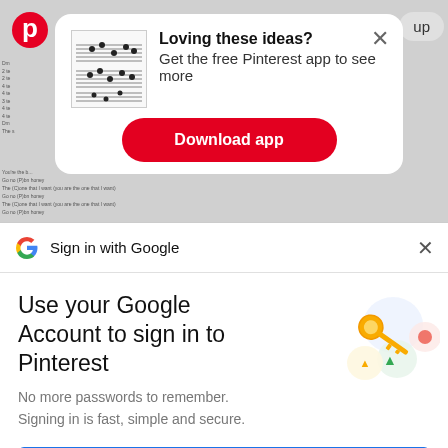[Figure (screenshot): Pinterest app download popup with music sheet thumbnail, 'Loving these ideas? Get the free Pinterest app to see more' text, and red Download app button. Below is a Google Sign-in bar with 'Sign in with Google' text. Bottom section shows Google account sign-in prompt for Pinterest with Continue button and key illustration.]
Loving these ideas?
Get the free Pinterest app to see more
Download app
Sign in with Google
Use your Google Account to sign in to Pinterest
No more passwords to remember.
Signing in is fast, simple and secure.
Continue